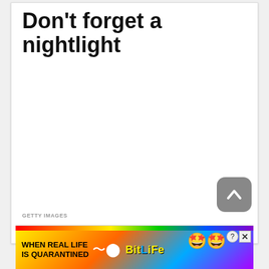Don't forget a nightlight
[Figure (photo): Large blank/white image area (photo content not visible in this crop)]
GETTY IMAGES
Johnson says night-time wake-ups require the right light, too. Too bright and your eyes struggle to
[Figure (other): Advertisement banner: WHEN REAL LIFE IS QUARANTINED / BitLife game ad with rainbow stripe, emoji characters, help and close buttons]